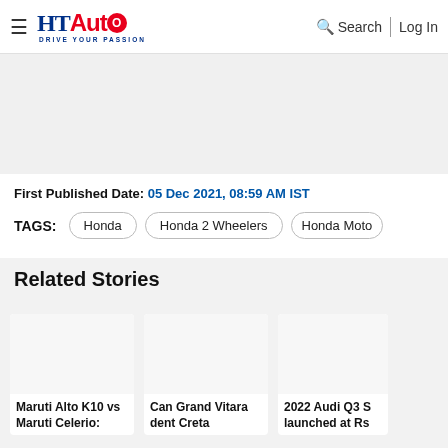HT Auto — Drive Your Passion | Search | Log In
[Figure (other): Advertisement banner placeholder (light grey background)]
First Published Date: 05 Dec 2021, 08:59 AM IST
TAGS: Honda | Honda 2 Wheelers | Honda Moto
Related Stories
[Figure (photo): Thumbnail image for Maruti Alto K10 vs Maruti Celerio article]
Maruti Alto K10 vs Maruti Celerio:
[Figure (photo): Thumbnail image for Can Grand Vitara dent Creta article]
Can Grand Vitara dent Creta
[Figure (photo): Thumbnail image for 2022 Audi Q3 S launched at Rs article]
2022 Audi Q3 S launched at Rs